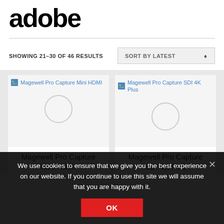adobe
SHOWING 21–30 OF 46 RESULTS
SORT BY LATEST
[Figure (screenshot): Product card for Magewell Pro Capture Mini HDMI with broken image icon and loading spinner]
Magewell Pro Capture Mini HDMI
[Figure (screenshot): Product card for Magewell Pro Capture SDI 4K Plus with broken image icon and loading spinner]
Magewell Pro Capture SDI 4K Plus
We use cookies to ensure that we give you the best experience on our website. If you continue to use this site we will assume that you are happy with it.
OK